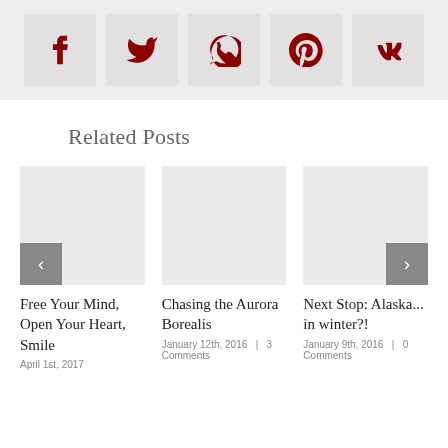[Figure (other): Social sharing icons bar with Facebook, Twitter, WhatsApp, Pinterest, and VK icons on a light gray background]
Related Posts
[Figure (other): Related post card image placeholder (light gray) for 'Free Your Mind, Open Your Heart, Smile']
Free Your Mind, Open Your Heart, Smile
[Figure (other): Related post card image placeholder (light gray) for 'Chasing the Aurora Borealis']
Chasing the Aurora Borealis
January 12th, 2016  |  3 Comments
[Figure (other): Related post card image placeholder (light gray) for 'Next Stop: Alaska... in winter?!']
Next Stop: Alaska... in winter?!
January 9th, 2016  |  0 Comments